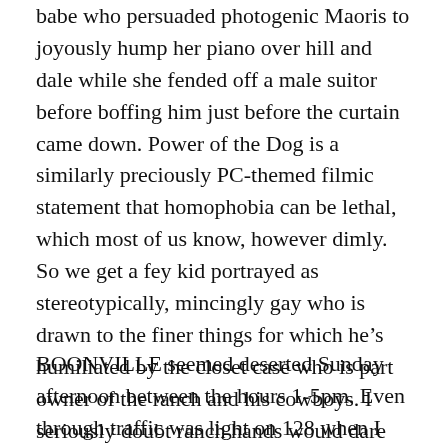babe who persuaded photogenic Maoris to joyously hump her piano over hill and dale while she fended off a male suitor before boffing him just before the curtain came down. Power of the Dog is a similarly preciously PC-themed filmic statement that homophobia can be lethal, which most of us know, however dimly. So we get a fey kid portrayed as stereotypically, mincingly gay who is drawn to the finer things for which he's humiliated by the closet case who is part owner of the ranch and his cowboys. I seriously doubt ranch hands would dare insult a lad who is related to the boss but they do, and often, too. Where dog power fits here beats me, but it's Old Testament, Psalm 22:20, which reads: “Deliver my soul from the sword; my darling from the power of the dog.”
BOONVILLE seemed deserted Sunday afternoon between the hours 1-5pm. Even through traffic was light on 128 when I popped outside to look at half time